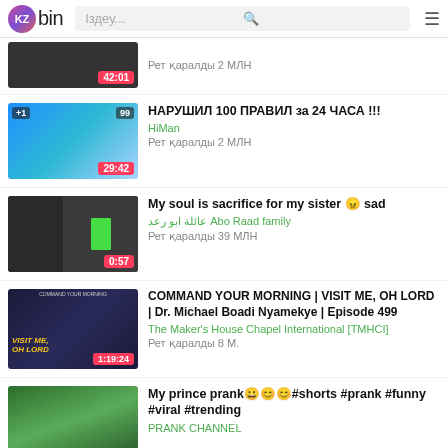KZbin — Іздеу...
42:01 — Рет қаралды 2 МЛН
НАРУШИЛ 100 ПРАВИЛ за 24 ЧАСА !!! — HiMan — Рет қаралды 2 МЛН — 29:42
My soul is sacrifice for my sister 😑 sad — Abo Raad family عائلة ابو رعد — Рет қаралды 39 МЛН — 0:57
COMMAND YOUR MORNING | VISIT ME, OH LORD | Dr. Michael Boadi Nyamekye | Episode 499 — The Maker's House Chapel International [TMHCI] — Рет қаралды 8 М. — 1:19:24
My prince prank😀😊😊#shorts #prank #funny #viral #trending — PRANK CHANNEL